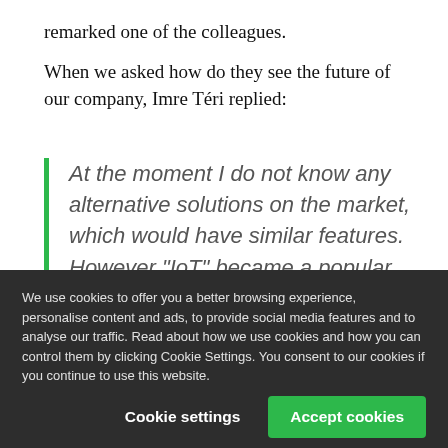remarked one of the colleagues.
When we asked how do they see the future of our company, Imre Téri replied:
At the moment I do not know any alternative solutions on the market, which would have similar features. However "IoT" became a popular topic, there aren't so many key-less solutions
We use cookies to offer you a better browsing experience, personalise content and ads, to provide social media features and to analyse our traffic. Read about how we use cookies and how you can control them by clicking Cookie Settings. You consent to our cookies if you continue to use this website.
Cookie settings
Accept cookies